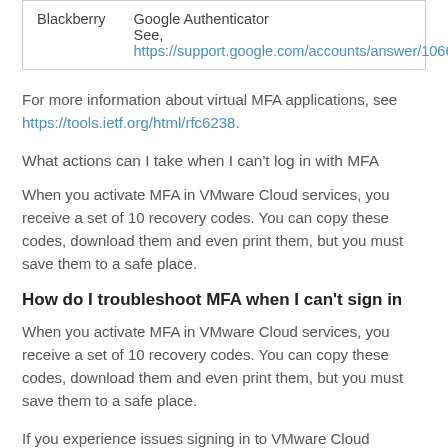| Blackberry | Google Authenticator
See,
https://support.google.com/accounts/answer/106644 |
For more information about virtual MFA applications, see https://tools.ietf.org/html/rfc6238.
What actions can I take when I can't log in with MFA
When you activate MFA in VMware Cloud services, you receive a set of 10 recovery codes. You can copy these codes, download them and even print them, but you must save them to a safe place.
How do I troubleshoot MFA when I can't sign in
When you activate MFA in VMware Cloud services, you receive a set of 10 recovery codes. You can copy these codes, download them and even print them, but you must save them to a safe place.
If you experience issues signing in to VMware Cloud services